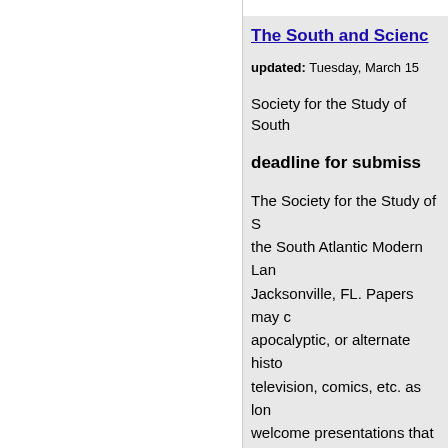The South and Scienc…
updated: Tuesday, March 15…
Society for the Study of South…
deadline for submiss…
The Society for the Study of S… the South Atlantic Modern La… Jacksonville, FL. Papers may c… apocalyptic, or alternate histo… television, comics, etc. as lon… welcome presentations that d… especially papers that focus o…
Call for papers in Cul…
updated: Monday, March 14…
Midwest Popular Culture Asso…